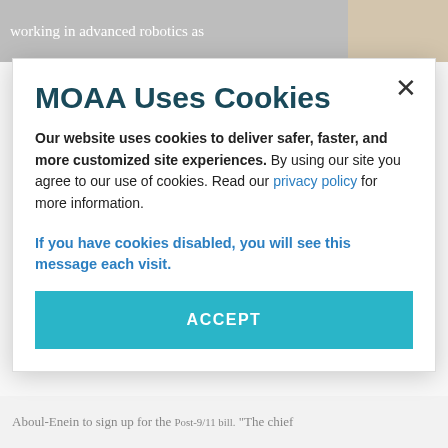working in advanced robotics as
[Figure (photo): Partial photo of a person visible in upper right corner]
MOAA Uses Cookies
Our website uses cookies to deliver safer, faster, and more customized site experiences. By using our site you agree to our use of cookies. Read our privacy policy for more information.
If you have cookies disabled, you will see this message each visit.
ACCEPT
Aboul-Enein to sign up for the Post-9/11 bill. “The chief